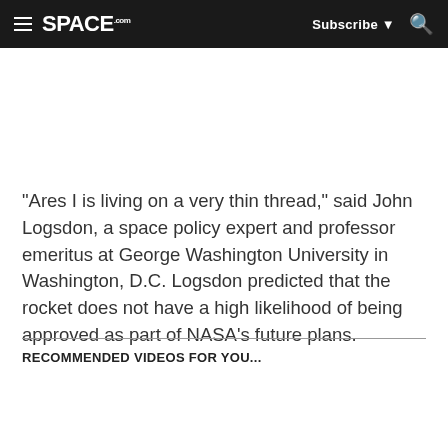SPACE.com — Subscribe  🔍
"Ares I is living on a very thin thread," said John Logsdon, a space policy expert and professor emeritus at George Washington University in Washington, D.C. Logsdon predicted that the rocket does not have a high likelihood of being approved as part of NASA's future plans.
RECOMMENDED VIDEOS FOR YOU...